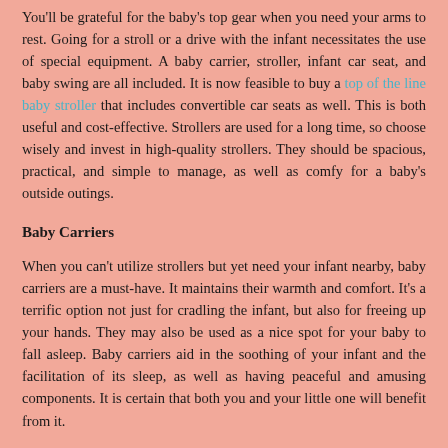You'll be grateful for the baby's top gear when you need your arms to rest. Going for a stroll or a drive with the infant necessitates the use of special equipment. A baby carrier, stroller, infant car seat, and baby swing are all included. It is now feasible to buy a top of the line baby stroller that includes convertible car seats as well. This is both useful and cost-effective. Strollers are used for a long time, so choose wisely and invest in high-quality strollers. They should be spacious, practical, and simple to manage, as well as comfy for a baby's outside outings.
Baby Carriers
When you can't utilize strollers but yet need your infant nearby, baby carriers are a must-have. It maintains their warmth and comfort. It's a terrific option not just for cradling the infant, but also for freeing up your hands. They may also be used as a nice spot for your baby to fall asleep. Baby carriers aid in the soothing of your infant and the facilitation of its sleep, as well as having peaceful and amusing components. It is certain that both you and your little one will benefit from it.
White Noise Machine